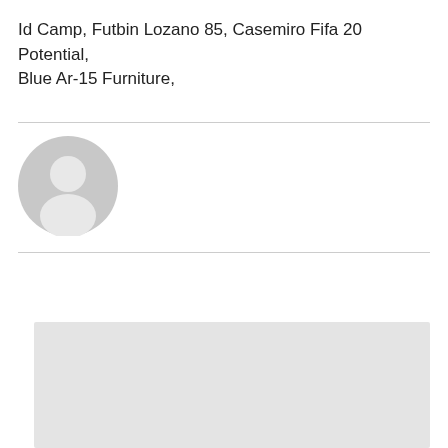Id Camp, Futbin Lozano 85, Casemiro Fifa 20 Potential, Blue Ar-15 Furniture,
[Figure (illustration): Generic user avatar icon — a grey circle with a silhouette of a person (head and shoulders) in lighter grey]
[Figure (photo): A light grey rectangular placeholder image block]